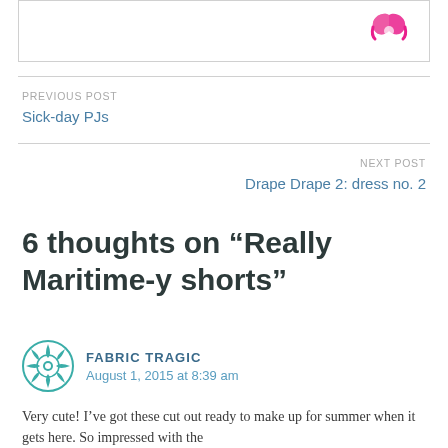[Figure (logo): Pink/magenta decorative logo icon in top right of box]
PREVIOUS POST
Sick-day PJs
NEXT POST
Drape Drape 2: dress no. 2
6 thoughts on “Really Maritime-y shorts”
FABRIC TRAGIC
August 1, 2015 at 8:39 am
Very cute! I’ve got these cut out ready to make up for summer when it gets here. So impressed with the